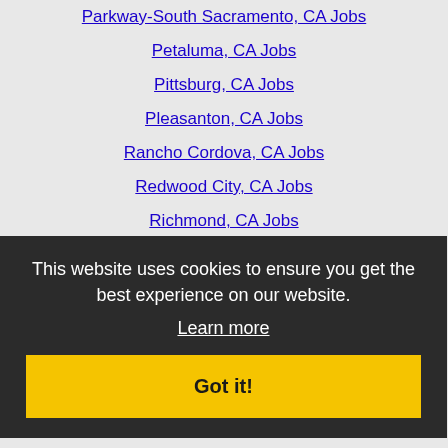Parkway-South Sacramento, CA Jobs
Petaluma, CA Jobs
Pittsburg, CA Jobs
Pleasanton, CA Jobs
Rancho Cordova, CA Jobs
Redwood City, CA Jobs
Richmond, CA Jobs
Rocklin, CA Jobs
Rohnert Park, CA Jobs
Roseville, CA Jobs
San Bruno, CA Jobs
San Jose, CA Jobs
San Ysidro, CA Jobs
San Mateo, CA Jobs
San Rafael, CA Jobs
San Ramon, CA Jobs
Santa Clara, CA Jobs
This website uses cookies to ensure you get the best experience on our website.
Learn more
Got it!